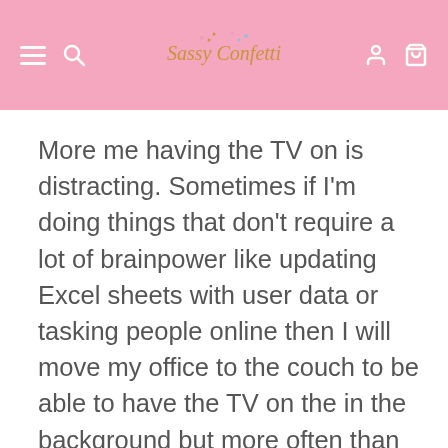Sassy Confetti
More me having the TV on is distracting. Sometimes if I'm doing things that don't require a lot of brainpower like updating Excel sheets with user data or tasking people online then I will move my office to the couch to be able to have the TV on the in the background but more often than not I end up muting it or pausing it because it's too much of a distraction. I MUCH prefer putting on music to keep me positive and upbeat throughout the day, but that's also what helped me study in school so whatever helped you be productive while studying will most likely help